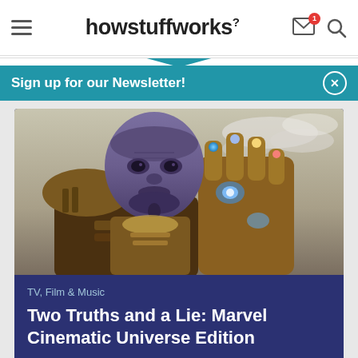howstuffworks
Sign up for our Newsletter!
[Figure (photo): Movie still of Thanos from the Marvel Cinematic Universe, wearing golden armor and the Infinity Gauntlet, with a dramatic sky background.]
TV, Film & Music
Two Truths and a Lie: Marvel Cinematic Universe Edition